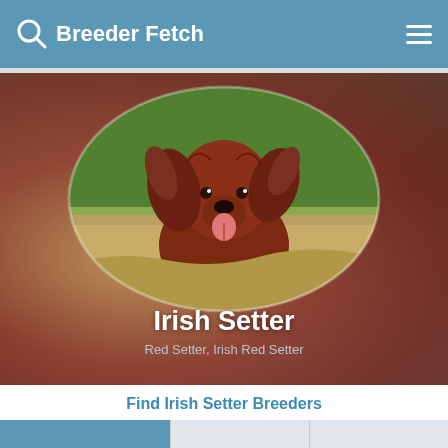Breeder Fetch
[Figure (photo): Irish Setter dog running in a field, shown in an oval frame against a blurred warm-toned background. The dog has long reddish-brown fur with ears flying in the wind and tongue out.]
Irish Setter
Red Setter, Irish Red Setter
Find Irish Setter Breeders
Overview